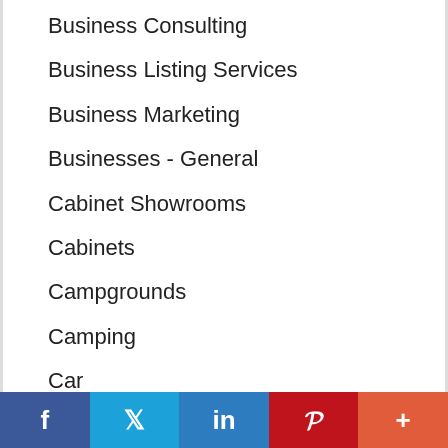Business Consulting
Business Listing Services
Business Marketing
Businesses - General
Cabinet Showrooms
Cabinets
Campgrounds
Camping
Car
Car Accident Lawyers
Car Dealers
Car Washes
Career
Caregivers
f  t  in  P  +